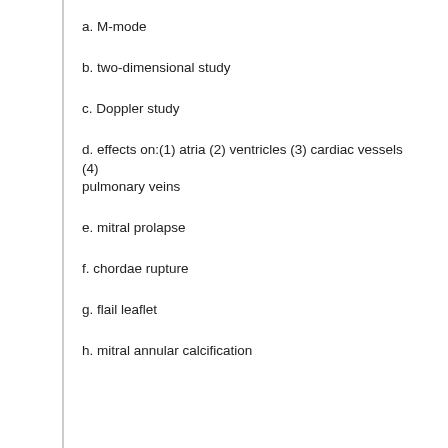a. M-mode
b. two-dimensional study
c. Doppler study
d. effects on:(1) atria (2) ventricles (3) cardiac vessels (4) pulmonary veins
e. mitral prolapse
f. chordae rupture
g. flail leaflet
h. mitral annular calcification